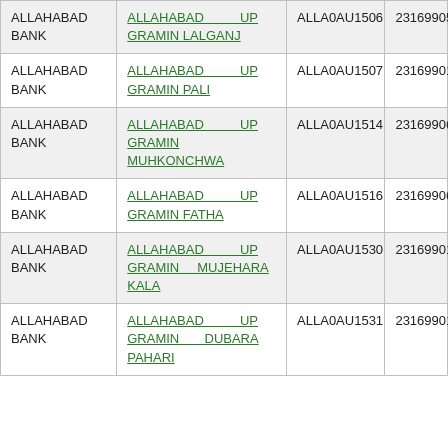| ALLAHABAD BANK | ALLAHABAD UP GRAMIN LALGANJ | ALLA0AU1506 | 23169905 |
| ALLAHABAD BANK | ALLAHABAD UP GRAMIN PALI | ALLA0AU1507 | 23169901 |
| ALLAHABAD BANK | ALLAHABAD UP GRAMIN MUHKONCHWA | ALLA0AU1514 | 23169906 |
| ALLAHABAD BANK | ALLAHABAD UP GRAMIN FATHA | ALLA0AU1516 | 23169906 |
| ALLAHABAD BANK | ALLAHABAD UP GRAMIN MUJEHARA KALA | ALLA0AU1530 | 23169901 |
| ALLAHABAD BANK | ALLAHABAD UP GRAMIN DUBARA PAHARI | ALLA0AU1531 | 23169901 |